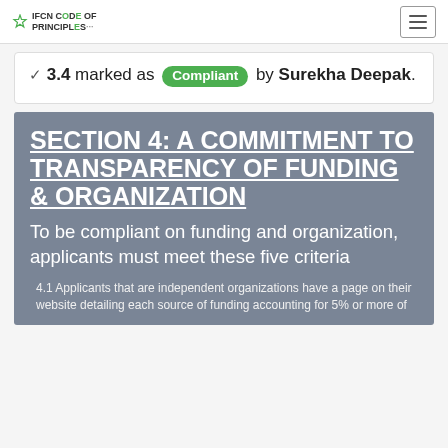IFCN CODE OF PRINCIPLES
3.4 marked as Compliant by Surekha Deepak.
SECTION 4: A COMMITMENT TO TRANSPARENCY OF FUNDING & ORGANIZATION
To be compliant on funding and organization, applicants must meet these five criteria
4.1 Applicants that are independent organizations have a page on their website detailing each source of funding accounting for 5% or more of